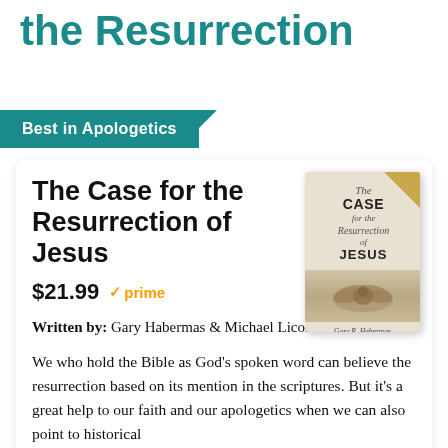the Resurrection
Best in Apologetics
The Case for the Resurrection of Jesus
$21.99 ✓prime
Written by: Gary Habermas & Michael Licona
We who hold the Bible as God's spoken word can believe the resurrection based on its mention in the scriptures. But it's a great help to our faith and our apologetics when we can also point to historical
[Figure (photo): Book cover of 'The Case for the Resurrection of Jesus' by Gary R. Habermas and Michael R. Licona, with a beige/tan color scheme and decorative bird image]